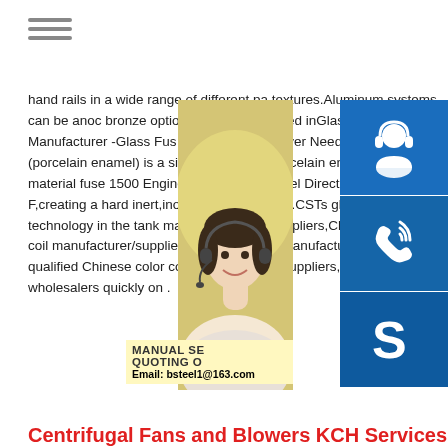≡ (hamburger menu icon)
hand rails in a wide range of different pa textures.Aluminum systems can be anoc bronze options,or powder coated inGlass Storage Tanks Manufacturer -Glass Fus Storage Tanks Never Need Painting.G la (porcelain enamel) is a single source str porcelain enamel and steel material fuse 1500 Engineering Coated Panel Direct M Steel#176; F,creating a hard inert,inorga needs painting.CSTs glass-fused-to-stee technology in the tank market.Color coil Suppliers,China color coil color coil manufacturer/supplier,China color coil manufacturer factory list,find qualified Chinese color coil manufacturers,suppliers,factories,exporters wholesalers quickly on .
[Figure (photo): Woman with headset on yellow background, customer service representative]
[Figure (infographic): Three blue icon buttons: customer support headset icon, phone/wifi icon, Skype icon. Promo text: MANUAL SE... QUOTING O... Email: bsteel1@163.com]
Centrifugal Fans and Blowers KCH Services